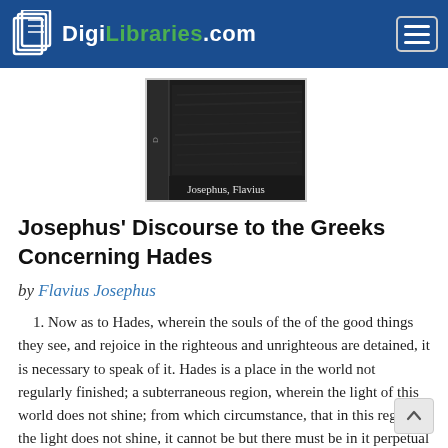DigiLibraries.com
[Figure (photo): Dark book cover with text 'Josephus, Flavius' at the bottom, shown as a book thumbnail image]
Josephus' Discourse to the Greeks Concerning Hades
by Flavius Josephus
1. Now as to Hades, wherein the souls of the of the good things they see, and rejoice in the righteous and unrighteous are detained, it is necessary to speak of it. Hades is a place in the world not regularly finished; a subterraneous region, wherein the light of this world does not shine; from which circumstance, that in this region the light does not shine, it cannot be but there must be in it perpetual darkness. This region is allotted as a... more...